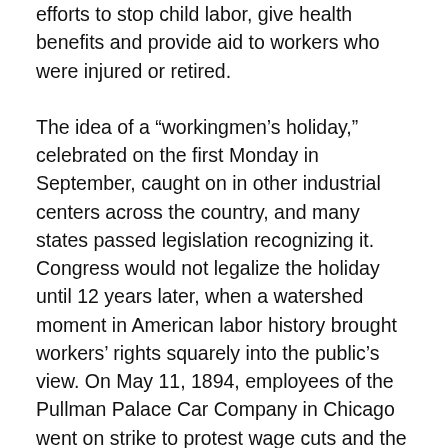efforts to stop child labor, give health benefits and provide aid to workers who were injured or retired.
The idea of a “workingmen’s holiday,” celebrated on the first Monday in September, caught on in other industrial centers across the country, and many states passed legislation recognizing it. Congress would not legalize the holiday until 12 years later, when a watershed moment in American labor history brought workers’ rights squarely into the public’s view. On May 11, 1894, employees of the Pullman Palace Car Company in Chicago went on strike to protest wage cuts and the firing of union representatives.